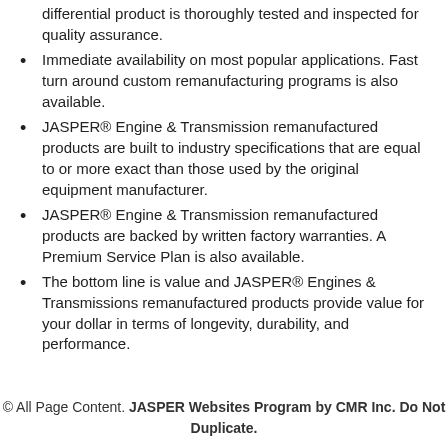differential product is thoroughly tested and inspected for quality assurance.
Immediate availability on most popular applications. Fast turn around custom remanufacturing programs is also available.
JASPER® Engine & Transmission remanufactured products are built to industry specifications that are equal to or more exact than those used by the original equipment manufacturer.
JASPER® Engine & Transmission remanufactured products are backed by written factory warranties. A Premium Service Plan is also available.
The bottom line is value and JASPER® Engines & Transmissions remanufactured products provide value for your dollar in terms of longevity, durability, and performance.
© All Page Content. JASPER Websites Program by CMR Inc. Do Not Duplicate.